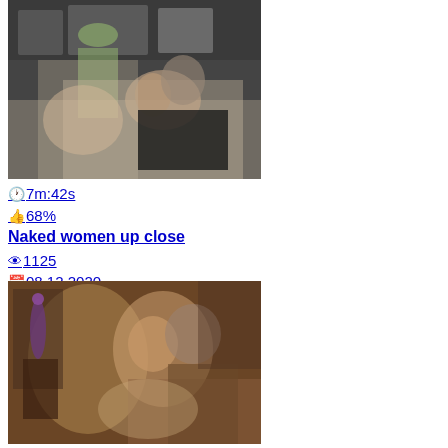[Figure (photo): Thumbnail image of video content showing people in a living room/kitchen setting]
⏱7m:42s
👍68%
Naked women up close
👁1125
📅08.12.2020
[Figure (photo): Thumbnail image of video content showing a couple in a bedroom setting]